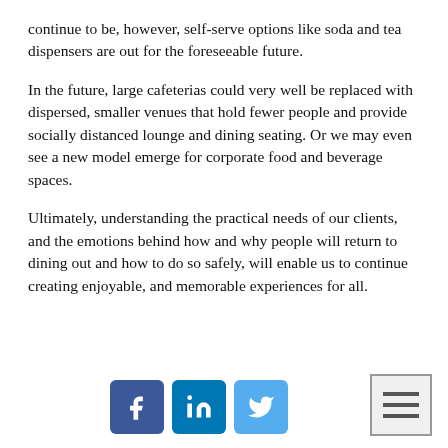continue to be, however, self-serve options like soda and tea dispensers are out for the foreseeable future.
In the future, large cafeterias could very well be replaced with dispersed, smaller venues that hold fewer people and provide socially distanced lounge and dining seating. Or we may even see a new model emerge for corporate food and beverage spaces.
Ultimately, understanding the practical needs of our clients, and the emotions behind how and why people will return to dining out and how to do so safely, will enable us to continue creating enjoyable, and memorable experiences for all.
[Figure (other): Social media share icons for Facebook, LinkedIn, and Twitter, plus a hamburger menu icon in the bottom right corner.]